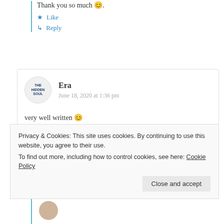Thank you so much 😊.
★ Like
↳ Reply
Era
June 18, 2020 at 1:36 pm
very well written 😊
★ Liked by 8 people
Privacy & Cookies: This site uses cookies. By continuing to use this website, you agree to their use.
To find out more, including how to control cookies, see here: Cookie Policy
Close and accept